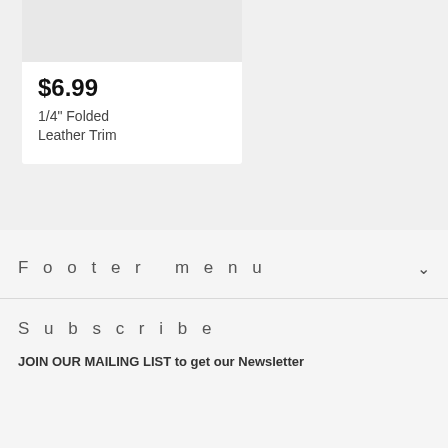[Figure (other): Product card with gray image placeholder at top]
$6.99
1/4" Folded Leather Trim
Footer menu
Subscribe
JOIN OUR MAILING LIST to get our Newsletter